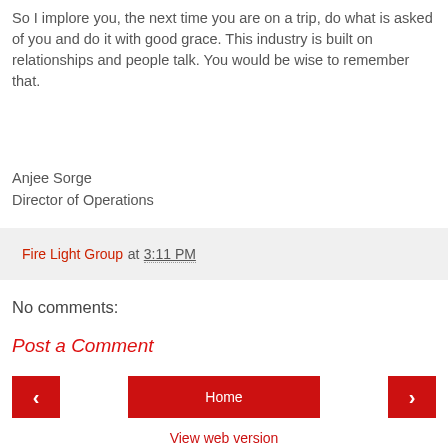So I implore you, the next time you are on a trip, do what is asked of you and do it with good grace. This industry is built on relationships and people talk. You would be wise to remember that.
Anjee Sorge
Director of Operations
Fire Light Group at 3:11 PM
No comments:
Post a Comment
Home
View web version
Powered by Blogger.